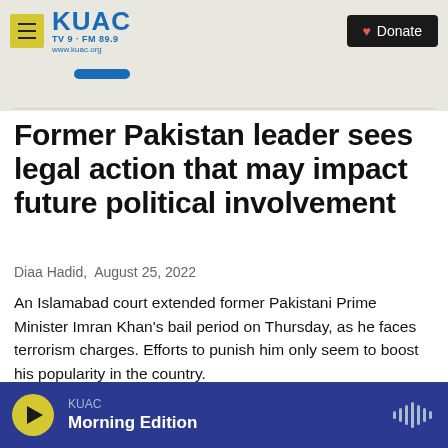KUAC TV 9 · FM 89.9 www.kuac.org | Donate
Former Pakistan leader sees legal action that may impact future political involvement
Diaa Hadid,  August 25, 2022
An Islamabad court extended former Pakistani Prime Minister Imran Khan's bail period on Thursday, as he faces terrorism charges. Efforts to punish him only seem to boost his popularity in the country.
KUAC Morning Edition